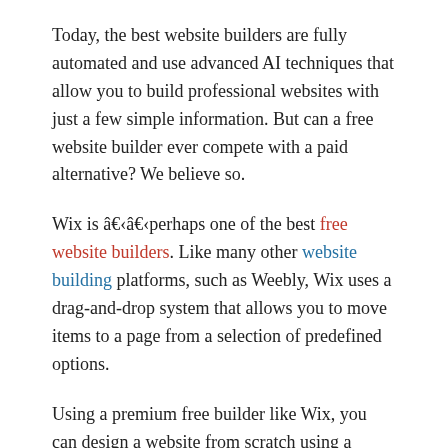Today, the best website builders are fully automated and use advanced AI techniques that allow you to build professional websites with just a few simple information. But can a free website builder ever compete with a paid alternative? We believe so.
Wix is â€‹â€‹perhaps one of the best free website builders. Like many other website building platforms, such as Weebly, Wix uses a drag-and-drop system that allows you to move items to a page from a selection of predefined options.
Using a premium free builder like Wix, you can design a website from scratch using a template. Once it's on screen, you can adjust the design to suit your brand, adding, removing, and redrawing elements to make them fit. Some free website building platforms also include additional extras, such as Secure Sockets Layer (SSL) certificates and SEO (search engine optimization) tools.